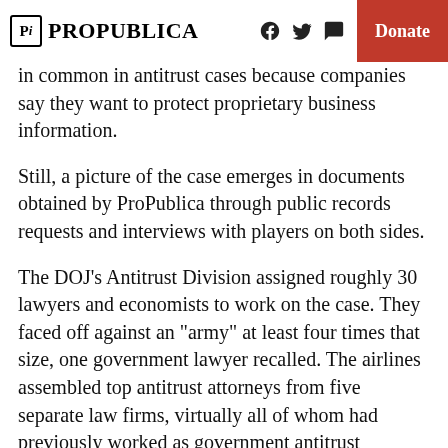ProPublica | Donate
in common in antitrust cases because companies say they want to protect proprietary business information.
Still, a picture of the case emerges in documents obtained by ProPublica through public records requests and interviews with players on both sides.
The DOJ’s Antitrust Division assigned roughly 30 lawyers and economists to work on the case. They faced off against an “army” at least four times that size, one government lawyer recalled. The airlines assembled top antitrust attorneys from five separate law firms, virtually all of whom had previously worked as government antitrust enforcers.
American Airlines’ general counsel later estimated the company had spent $275 million on outside lawyers for its bankruptcy and to defend the merger suit. That doesn’t include US Airways’ spending on the deal.